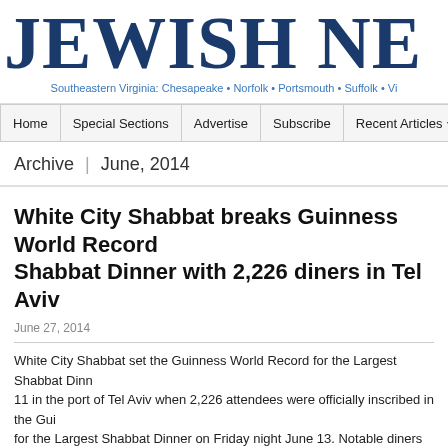JEWISH NE
Southeastern Virginia: Chesapeake • Norfolk • Portsmouth • Suffolk • Vi
Home | Special Sections | Advertise | Subscribe | Recent Articles | Archives
Archive | June, 2014
White City Shabbat breaks Guinness World Record Shabbat Dinner with 2,226 diners in Tel Aviv
June 27, 2014
White City Shabbat set the Guinness World Record for the Largest Shabbat Dinn... 11 in the port of Tel Aviv when 2,226 attendees were officially inscribed in the Gui... for the Largest Shabbat Dinner on Friday night June 13. Notable diners included c... Aviv Rav Yisrael [...]